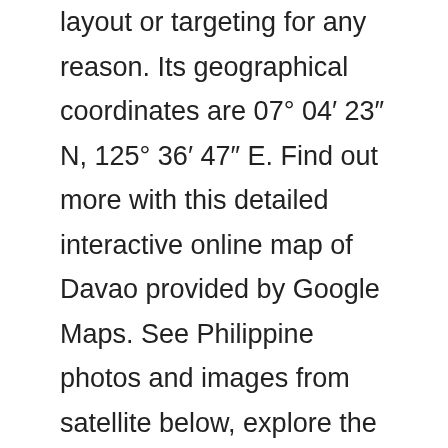layout or targeting for any reason. Its geographical coordinates are 07° 04′ 23″ N, 125° 36′ 47″ E. Find out more with this detailed interactive online map of Davao provided by Google Maps. See Philippine photos and images from satellite below, explore the aerial photographs of Philippine in Philippines. Can also search by keyword such as type of business. Satellite imagery & aerial photos. Do more with Bing Maps. Imagery is captured at 01:30 local time. Explore recent images of storms, wildfires, property and more. Storm tracks and